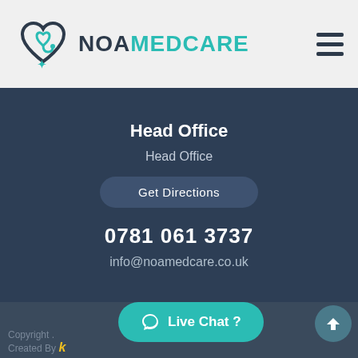[Figure (logo): NOA MEDCARE logo with heart and stethoscope icon in teal/dark blue]
Head Office
Head Office
Get Directions
0781 061 3737
info@noamedcare.co.uk
[Figure (infographic): Social media icons: Twitter bird, Facebook f, Instagram camera]
Live Chat ?
Copyright .
Created By
[Figure (logo): Kwik logo yellow italic k]